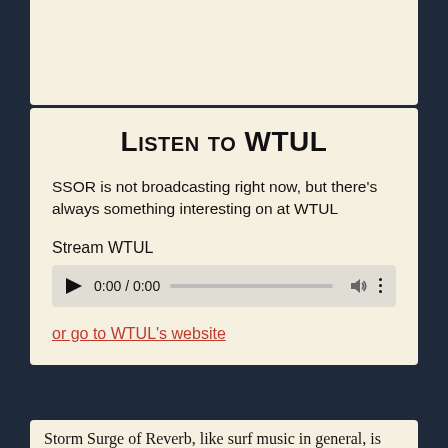Listen to WTUL
SSOR is not broadcasting right now, but there's always something interesting on at WTUL
Stream WTUL
[Figure (screenshot): Audio player widget showing 0:00 / 0:00 with play button, progress bar, volume and more icons]
or go to WTUL's website
Storm Surge of Reverb, like surf music in general, is